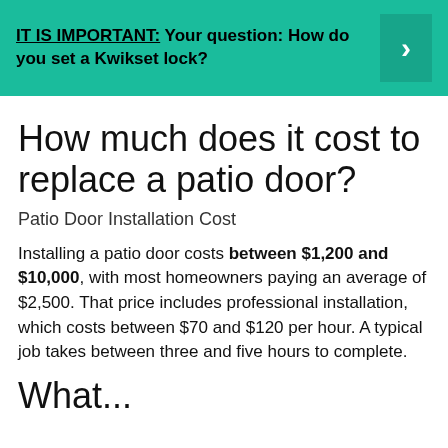IT IS IMPORTANT: Your question: How do you set a Kwikset lock?
How much does it cost to replace a patio door?
Patio Door Installation Cost
Installing a patio door costs between $1,200 and $10,000, with most homeowners paying an average of $2,500. That price includes professional installation, which costs between $70 and $120 per hour. A typical job takes between three and five hours to complete.
What...